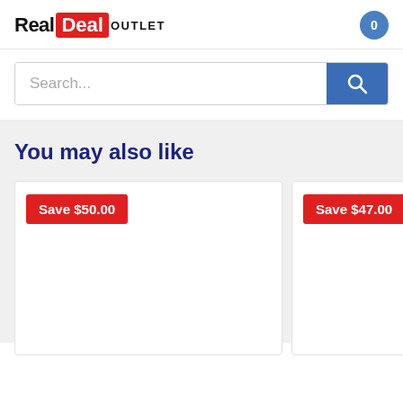[Figure (logo): Real Deal Outlet logo with red badge for 'Deal' and black text for 'Real' and 'OUTLET']
[Figure (other): Shopping cart badge showing 0 items, blue circle]
Search...
You may also like
Save $50.00
Save $47.00